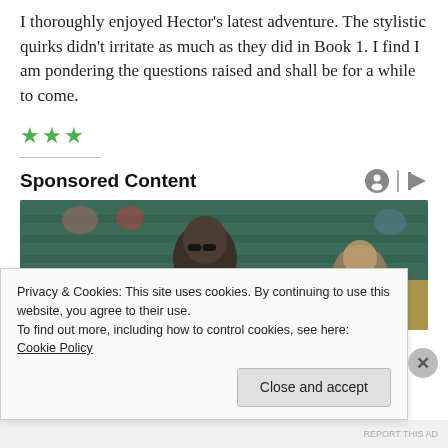I thoroughly enjoyed Hector's latest adventure. The stylistic quirks didn't irritate as much as they did in Book 1. I find I am pondering the questions raised and shall be for a while to come.
[Figure (other): Three green star rating icons]
Sponsored Content
[Figure (photo): Photo of a man with sunglasses sitting in stadium seating, with a woman partially visible to the right, green seats in background]
Privacy & Cookies: This site uses cookies. By continuing to use this website, you agree to their use.
To find out more, including how to control cookies, see here: Cookie Policy
Close and accept